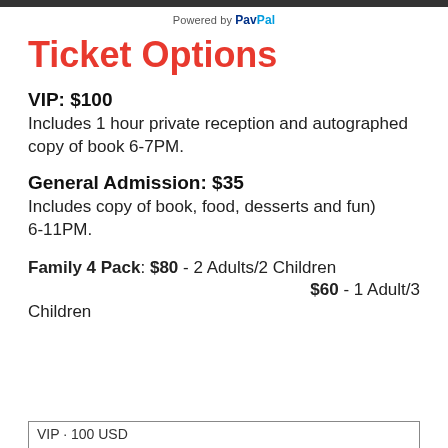Powered by PayPal
Ticket Options
VIP: $100
Includes 1 hour private reception and autographed copy of book 6-7PM.
General Admission: $35
Includes copy of book, food, desserts and fun)
6-11PM.
Family 4 Pack: $80 - 2 Adults/2 Children
$60 - 1 Adult/3 Children
VIP · 100 USD